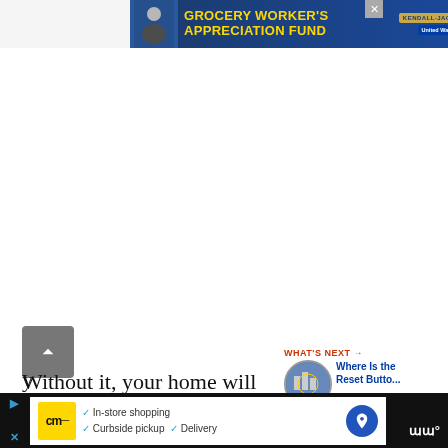[Figure (screenshot): Advertisement banner for Grocery Worker's Appreciation Fund with Kendall Jackson and United Way logos, dark blue background]
[Figure (screenshot): Like/heart button (teal circle) with count of 9 below it, and a share button below that]
Without it, your home will not
be cool during the summertime, and
[Figure (screenshot): WHAT'S NEXT panel with thumbnail image and text: Where Is the Reset Butto...]
[Figure (screenshot): Back to top arrow button (gray square)]
[Figure (screenshot): Bottom advertisement bar for CM store: In-store shopping, Curbside pickup, Delivery with navigation icon and weather widget]
y